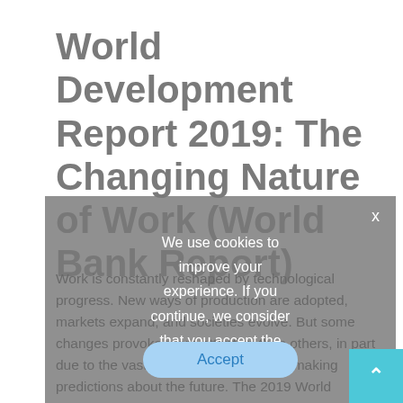World Development Report 2019: The Changing Nature of Work (World Bank Report)
Work is constantly reshaped by technological progress. New ways of production are adopted, markets expand, and societies evolve. But some changes provoke more attention than others, in part due to the vast uncertainty involved in making predictions about the future. The 2019 World Development Report studies how the nature
[Figure (screenshot): Cookie consent overlay popup with text 'We use cookies to improve your experience. If you continue, we consider that you accept the use of cookies' and an Accept button, plus a teal scroll-to-top button in the bottom right corner.]